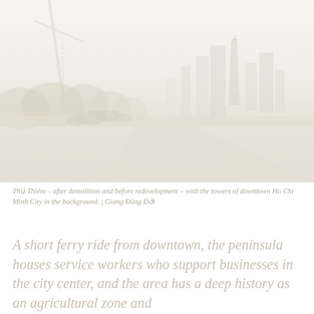[Figure (photo): A faded photograph showing Thủ Thiêm peninsula after demolition and before redevelopment, with cattle or people walking on a dirt road, overgrown vegetation on the left, and the towers of downtown Ho Chi Minh City skyline visible in the misty background on the right.]
Thủ Thiêm – after demolition and before redevelopment – with the towers of downtown Ho Chi Minh City in the background. | Giang Đăng Đởi
A short ferry ride from downtown, the peninsula houses service workers who support businesses in the city center, and the area has a deep history as an agricultural zone and